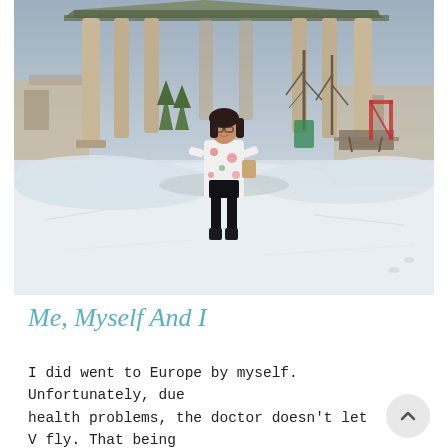[Figure (photo): A woman in a white floral coat and black pants stands in front of a stone gazebo/bandstand in a snowy park. There are bare trees, playground equipment (red slide), and picnic tables visible in the background. Winter scene with snow on the ground.]
Me, Myself And I
I did went to Europe by myself. Unfortunately, due health problems, the doctor doesn't let V fly. That being